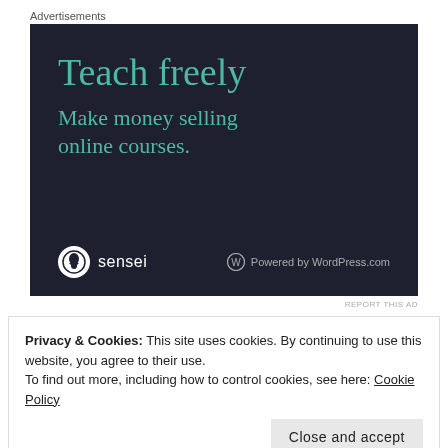Advertisements
[Figure (illustration): Advertisement banner for Sensei / Teach freely. Dark navy background with teal text reading 'Teach freely' and 'Make money selling online courses.' Sensei logo and 'Powered by WordPress.com' at the bottom.]
REPORT THIS AD
Privacy & Cookies: This site uses cookies. By continuing to use this website, you agree to their use.
To find out more, including how to control cookies, see here: Cookie Policy
Close and accept
breaking my foot